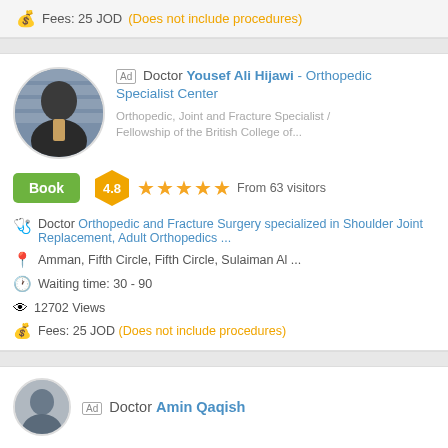Fees: 25 JOD (Does not include procedures)
Ad Doctor Yousef Ali Hijawi - Orthopedic Specialist Center
Orthopedic, Joint and Fracture Specialist / Fellowship of the British College of...
Book
4.8 ★★★★★ From 63 visitors
Doctor Orthopedic and Fracture Surgery specialized in Shoulder Joint Replacement, Adult Orthopedics ...
Amman, Fifth Circle, Fifth Circle, Sulaiman Al ...
Waiting time: 30 - 90
12702 Views
Fees: 25 JOD (Does not include procedures)
Ad Doctor Amin Qaqish